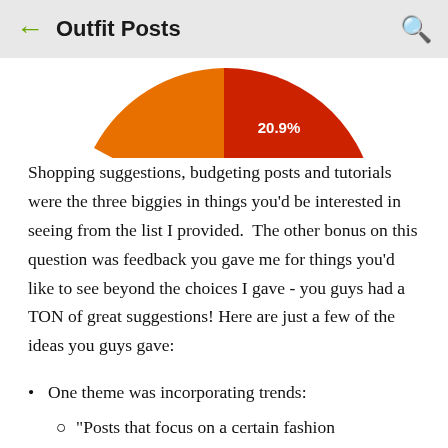← Outfit Posts 🔍
[Figure (pie-chart): Partial pie chart showing a slice labeled 20.9% in red/orange tones, cropped at top of view]
Shopping suggestions, budgeting posts and tutorials were the three biggies in things you'd be interested in seeing from the list I provided.  The other bonus on this question was feedback you gave me for things you'd like to see beyond the choices I gave - you guys had a TON of great suggestions! Here are just a few of the ideas you guys gave:
One theme was incorporating trends:
"Posts that focus on a certain fashion